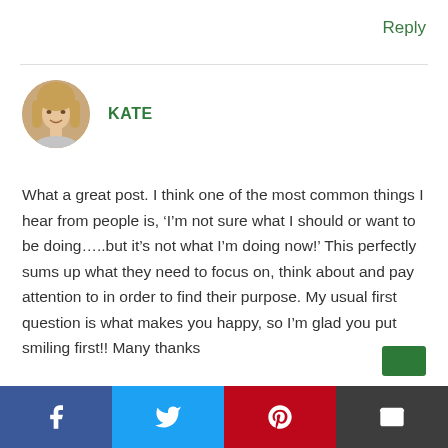Reply
[Figure (photo): Circular avatar photo of a blonde woman named Kate]
KATE
What a great post. I think one of the most common things I hear from people is, ‘I’m not sure what I should or want to be doing…..but it’s not what I’m doing now!’ This perfectly sums up what they need to focus on, think about and pay attention to in order to find their purpose. My usual first question is what makes you happy, so I’m glad you put smiling first!! Many thanks
Facebook | Twitter | Pinterest | Email